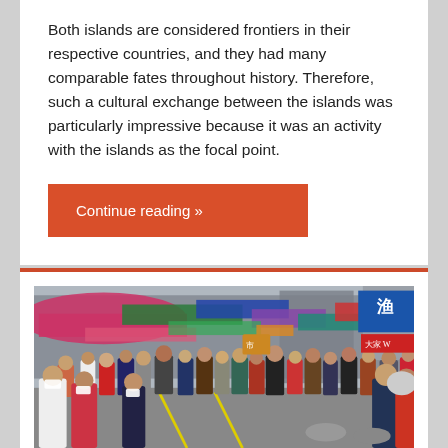Both islands are considered frontiers in their respective countries, and they had many comparable fates throughout history. Therefore, such a cultural exchange between the islands was particularly impressive because it was an activity with the islands as the focal point.
Continue reading »
[Figure (photo): A crowded outdoor market street scene with colorful awnings and many people wearing masks, with Chinese signage visible on storefronts.]